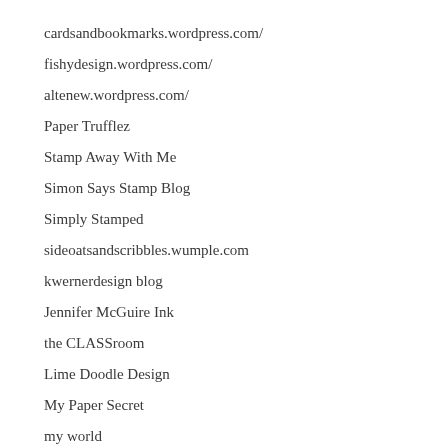cardsandbookmarks.wordpress.com/
fishydesign.wordpress.com/
altenew.wordpress.com/
Paper Trufflez
Stamp Away With Me
Simon Says Stamp Blog
Simply Stamped
sideoatsandscribbles.wumple.com
kwernerdesign blog
Jennifer McGuire Ink
the CLASSroom
Lime Doodle Design
My Paper Secret
my world